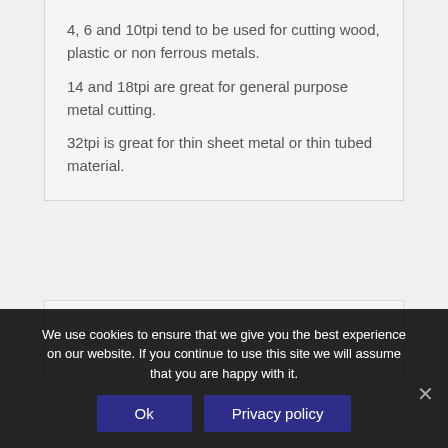4, 6 and 10tpi tend to be used for cutting wood, plastic or non ferrous metals.
14 and 18tpi are great for general purpose metal cutting.
32tpi is great for thin sheet metal or thin tubed material.
We use cookies to ensure that we give you the best experience on our website. If you continue to use this site we will assume that you are happy with it.